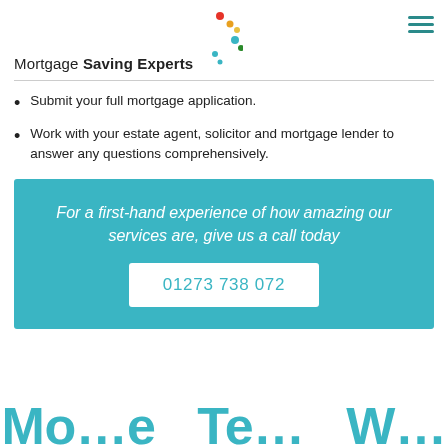[Figure (logo): Mortgage Saving Experts logo with coloured dots and hamburger menu icon]
Submit your full mortgage application.
Work with your estate agent, solicitor and mortgage lender to answer any questions comprehensively.
For a first-hand experience of how amazing our services are, give us a call today
01273 738 072
Mo...e Te...W...